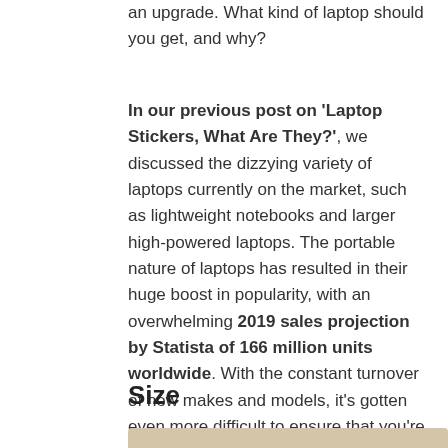an upgrade. What kind of laptop should you get, and why?
In our previous post on 'Laptop Stickers, What Are They?', we discussed the dizzying variety of laptops currently on the market, such as lightweight notebooks and larger high-powered laptops. The portable nature of laptops has resulted in their huge boost in popularity, with an overwhelming 2019 sales projection by Statista of 166 million units worldwide. With the constant turnover of new makes and models, it's gotten even more difficult to ensure that you're making the right choice. In order to help you make the best decision, here are some things to consider when you make your purchase:
Size
[Figure (photo): Bottom portion of a photo showing a laptop, partially visible at the bottom of the page]